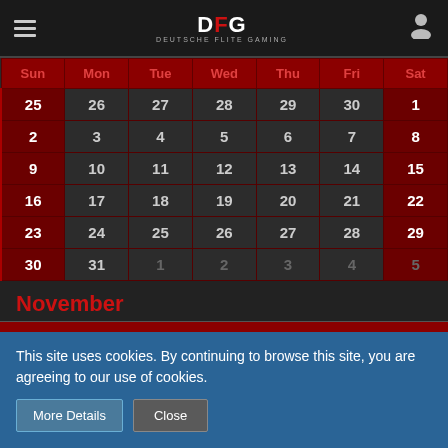DFG DEUTSCHE FLITE GAMING
| Sun | Mon | Tue | Wed | Thu | Fri | Sat |
| --- | --- | --- | --- | --- | --- | --- |
| 25 | 26 | 27 | 28 | 29 | 30 | 1 |
| 2 | 3 | 4 | 5 | 6 | 7 | 8 |
| 9 | 10 | 11 | 12 | 13 | 14 | 15 |
| 16 | 17 | 18 | 19 | 20 | 21 | 22 |
| 23 | 24 | 25 | 26 | 27 | 28 | 29 |
| 30 | 31 | 1 | 2 | 3 | 4 | 5 |
November
Sun  Mon  Tue  Wed  Thu  Fri  Sat
This site uses cookies. By continuing to browse this site, you are agreeing to our use of cookies.
More Details
Close